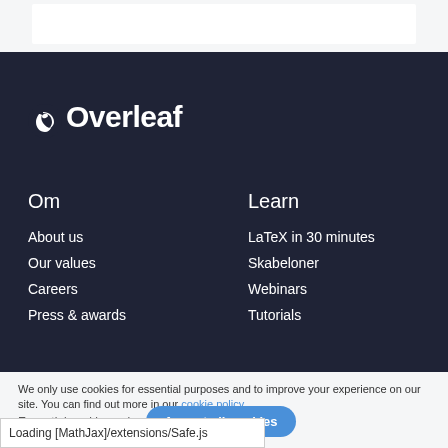[Figure (logo): Overleaf logo with leaf icon in white on dark background]
Om
Learn
About us
LaTeX in 30 minutes
Our values
Skabeloner
Careers
Webinars
Press & awards
Tutorials
We only use cookies for essential purposes and to improve your experience on our site. You can find out more in our cookie policy.
Loading [MathJax]/extensions/Safe.js